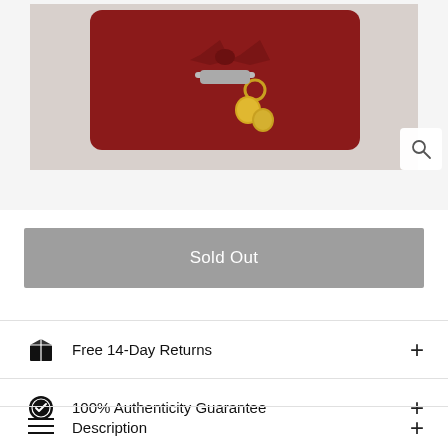[Figure (photo): Product photo of a dark red leather wallet/clutch with gold hardware and keyring charms, on a light gray background]
Sold Out
Free 14-Day Returns
100% Authenticity Guarantee
Description